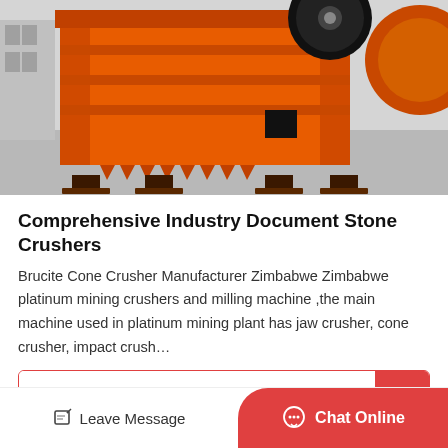[Figure (photo): Large orange industrial jaw crusher machine photographed outdoors on a concrete surface. The machine is heavy-duty with a prominent flywheel visible at top and triangular support feet at the base. Background shows a grey building and another round orange machine component.]
Comprehensive Industry Document Stone Crushers
Brucite Cone Crusher Manufacturer Zimbabwe Zimbabwe platinum mining crushers and milling machine ,the main machine used in platinum mining plant has jaw crusher, cone crusher, impact crush…
Get Price
Leave Message   Chat Online